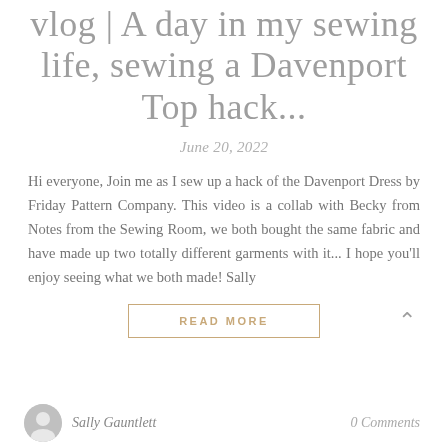vlog | A day in my sewing life, sewing a Davenport Top hack...
June 20, 2022
Hi everyone, Join me as I sew up a hack of the Davenport Dress by Friday Pattern Company. This video is a collab with Becky from Notes from the Sewing Room, we both bought the same fabric and have made up two totally different garments with it... I hope you'll enjoy seeing what we both made! Sally
READ MORE
Sally Gauntlett
0 Comments